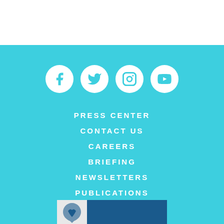[Figure (illustration): Social media icons row: Facebook, Twitter, Instagram, YouTube — white circles on cyan background]
PRESS CENTER
CONTACT US
CAREERS
BRIEFING
NEWSLETTERS
PUBLICATIONS
REPORT CORRUPTION
[Figure (logo): Organization logo: left portion with graphic mark on light background, right portion dark blue]